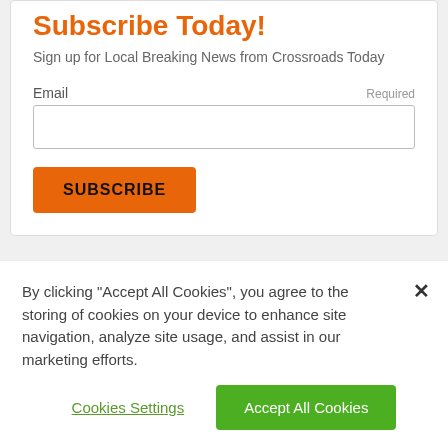Subscribe Today!
Sign up for Local Breaking News from Crossroads Today
Email  Required
SUBSCRIBE
3 Comments
Sort by Newest
By clicking “Accept All Cookies”, you agree to the storing of cookies on your device to enhance site navigation, analyze site usage, and assist in our marketing efforts.
Cookies Settings
Accept All Cookies